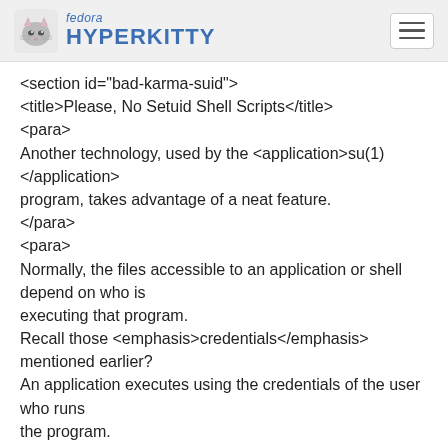fedora HYPERKITTY
<section id="bad-karma-suid">
<title>Please, No Setuid Shell Scripts</title>
<para>
Another technology, used by the <application>su(1)</application> program, takes advantage of a neat feature.
</para>
<para>
Normally, the files accessible to an application or shell depend on who is executing that program.
Recall those <emphasis>credentials</emphasis> mentioned earlier?
An application executes using the credentials of the user who runs the program.
</para>
<para>
Stop, wait, there&apos;s more!
</para>
<para>
Files have access permissions, but since a program is stored in a